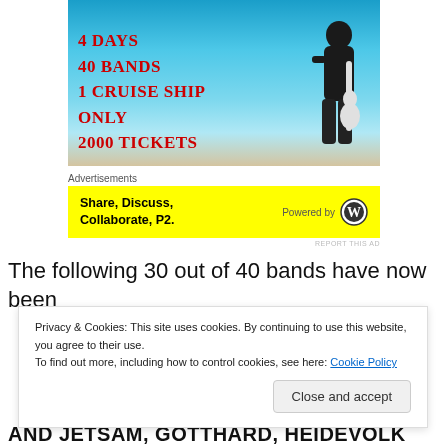[Figure (photo): Music cruise event banner: beach/ocean background with a guitarist figure, red bold text reading '4 Days 40 Bands 1 Cruise Ship Only 2000 Tickets']
Advertisements
[Figure (other): Yellow advertisement banner: 'Share, Discuss, Collaborate, P2.' on left; 'Powered by' WordPress logo on right]
REPORT THIS AD
The following 30 out of 40 bands have now been
Privacy & Cookies: This site uses cookies. By continuing to use this website, you agree to their use.
To find out more, including how to control cookies, see here: Cookie Policy
Close and accept
AND JETSAM, GOTTHARD, HEIDEVOLK